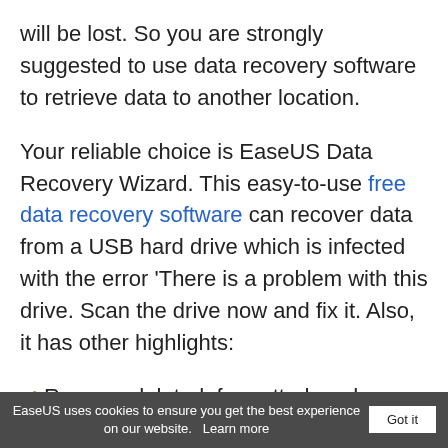will be lost. So you are strongly suggested to use data recovery software to retrieve data to another location.
Your reliable choice is EaseUS Data Recovery Wizard. This easy-to-use free data recovery software can recover data from a USB hard drive which is infected with the error 'There is a problem with this drive. Scan the drive now and fix it. Also, it has other highlights:
Recover deleted, formatted, and inaccessible data in different data loss situations
EaseUS uses cookies to ensure you get the best experience on our website.   Learn more   Got it